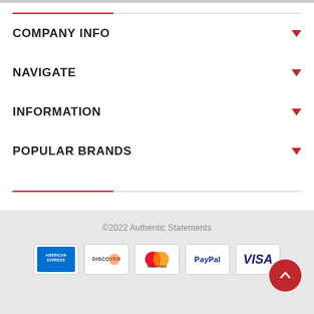COMPANY INFO
NAVIGATE
INFORMATION
POPULAR BRANDS
©2022 Authentic Statements
[Figure (other): Payment method icons: American Express, Discover, MasterCard, PayPal, VISA]